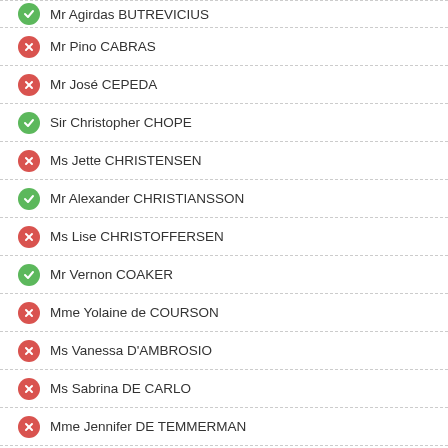Mr Agirdas BUTREVICIUS
Mr Pino CABRAS
Mr José CEPEDA
Sir Christopher CHOPE
Ms Jette CHRISTENSEN
Mr Alexander CHRISTIANSSON
Ms Lise CHRISTOFFERSEN
Mr Vernon COAKER
Mme Yolaine de COURSON
Ms Vanessa D'AMBROSIO
Ms Sabrina DE CARLO
Mme Jennifer DE TEMMERMAN
Mr Steve DOUBLE
Lord Alexander DUNDEE
Mme Nicole DURANTON
Ms Susanne EBERLE-STRUB
Mr Constantinos EFSTATHIOU
Ms Fiona-Ruth EIDE